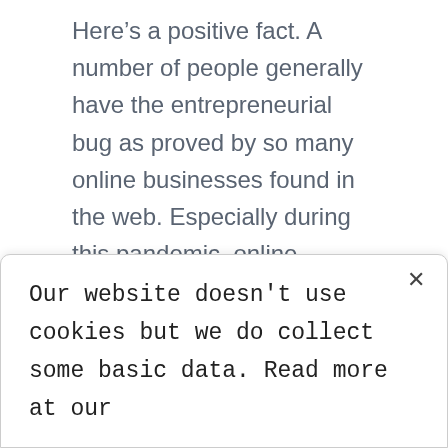Here's a positive fact. A number of people generally have the entrepreneurial bug as proved by so many online businesses found in the web. Especially during this pandemic, online businesses has mushroomed and almost all are doing it. People nowadays are motivated, they put everything they learned into their businesses. Some has ventured into cooking and baking wherein they tried to sell home recipes enjoyed by family. Many started out of curiosity in cooking and baking. They better their skills by attending online classes and workshops to be updated with new skills and techniques. This is
Our website doesn't use cookies but we do collect some basic data. Read more at our